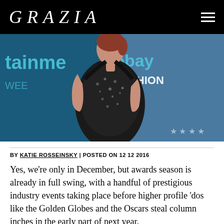GRAZIA
[Figure (photo): A woman in a black sequined halter dress at a red carpet event with entertainment and eBay Fashion backdrops visible behind her.]
BY KATIE ROSSEINSKY | POSTED ON 12 12 2016
Yes, we're only in December, but awards season is already in full swing, with a handful of prestigious industry events taking place before higher profile 'dos like the Golden Globes and the Oscars steal column inches in the early part of next year.
The most star-studded of such events so far has been the Critics' Choice Awards, which were